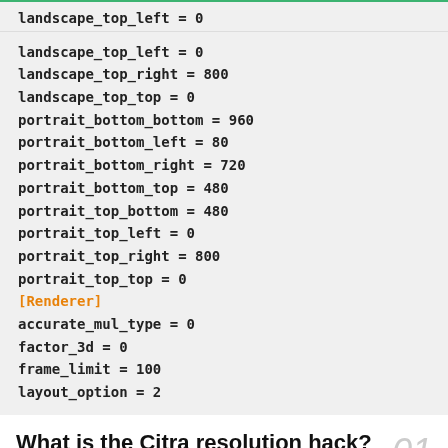landscape_top_left = 0
landscape_top_right = 800
landscape_top_top = 0
portrait_bottom_bottom = 960
portrait_bottom_left = 80
portrait_bottom_right = 720
portrait_bottom_top = 480
portrait_top_bottom = 480
portrait_top_left = 0
portrait_top_right = 800
portrait_top_top = 0
[Renderer]
accurate_mul_type = 0
factor_3d = 0
frame_limit = 100
layout_option = 2
What is the Citra resolution hack? Learn how to improve FPS in 3DS games on your Android phone
967 SHARES